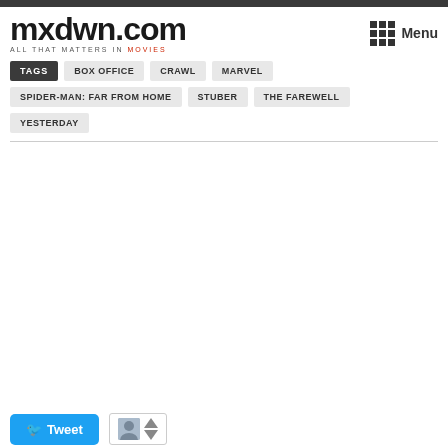mxdwn.com — ALL THAT MATTERS IN MOVIES
TAGS
BOX OFFICE
CRAWL
MARVEL
SPIDER-MAN: FAR FROM HOME
STUBER
THE FAREWELL
YESTERDAY
Tweet
[Figure (other): Vote widget with avatar icon and up/down arrow buttons]